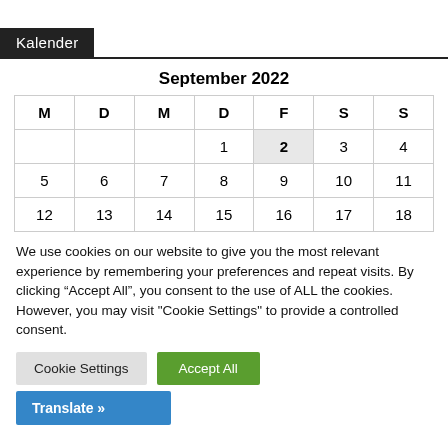Kalender
September 2022
| M | D | M | D | F | S | S |
| --- | --- | --- | --- | --- | --- | --- |
|  |  |  | 1 | 2 | 3 | 4 |
| 5 | 6 | 7 | 8 | 9 | 10 | 11 |
| 12 | 13 | 14 | 15 | 16 | 17 | 18 |
We use cookies on our website to give you the most relevant experience by remembering your preferences and repeat visits. By clicking “Accept All”, you consent to the use of ALL the cookies. However, you may visit "Cookie Settings" to provide a controlled consent.
Cookie Settings
Accept All
Translate »